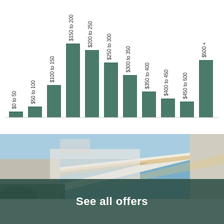[Figure (histogram): Price range histogram]
[Figure (photo): Exterior photo of a white modern building/house at dusk with illuminated pergola/carport structure, blue sky background, green plant in foreground.]
See all offers